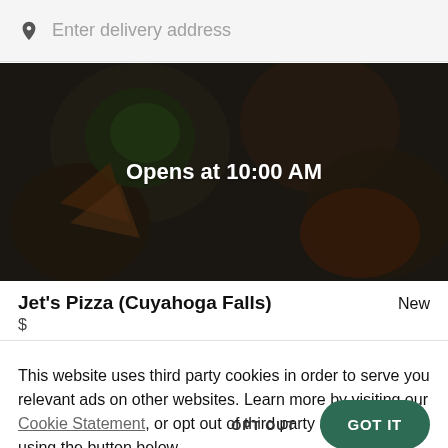Enter delivery address
[Figure (photo): Overhead food photo showing pizza, salads, and various dishes on a dark background with a dark overlay]
Opens at 10:00 AM
Jet's Pizza (Cuyahoga Falls)   New
$
This website uses third party cookies in order to serve you relevant ads on other websites. Learn more by visiting our Cookie Statement, or opt out of third party ad cookies using the button below.
OPT OUT
GOT IT